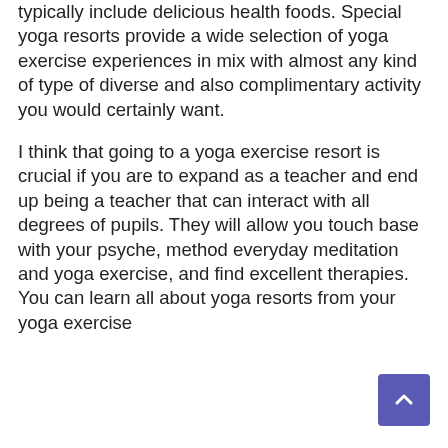typically include delicious health foods. Special yoga resorts provide a wide selection of yoga exercise experiences in mix with almost any kind of type of diverse and also complimentary activity you would certainly want.
I think that going to a yoga exercise resort is crucial if you are to expand as a teacher and end up being a teacher that can interact with all degrees of pupils. They will allow you touch base with your psyche, method everyday meditation and yoga exercise, and find excellent therapies. You can learn all about yoga resorts from your yoga exercise